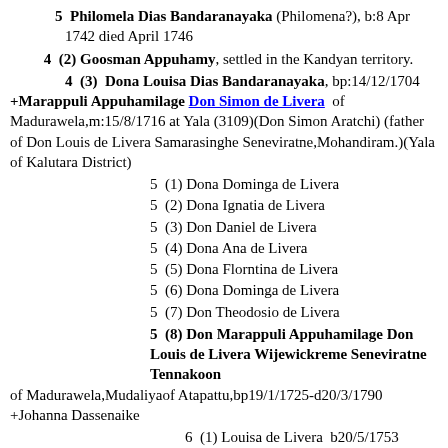5  Philomela Dias Bandaranayaka (Philomena?), b:8 Apr 1742 died April 1746
4  (2) Goosman Appuhamy, settled in the Kandyan territory.
4  (3)  Dona Louisa Dias Bandaranayaka, bp:14/12/1704 +Marappuli Appuhamilage Don Simon de Livera  of Madurawela,m:15/8/1716 at Yala (3109)(Don Simon Aratchi) (father of Don Louis de Livera Samarasinghe Seneviratne,Mohandiram.)(Yala of Kalutara District)
5  (1) Dona Dominga de Livera
5  (2) Dona Ignatia de Livera
5  (3) Don Daniel de Livera
5  (4) Dona Ana de Livera
5  (5) Dona Florntina de Livera
5  (6) Dona Dominga de Livera
5  (7) Don Theodosio de Livera
5  (8) Don Marappuli Appuhamilage Don Louis de Livera Wijewickreme Seneviratne Tennakoon of Madurawela,Mudaliyaof Atapattu,bp19/1/1725-d20/3/1790 +Johanna Dassenaike
6  (1) Louisa de Livera  b20/5/1753 +Paulis Samarakkody(m3/6/1770 (See Samarakkody family tree)
6  (2) Don Carolis de Livera Wijewickrema Tennekoon,b: circa 1760, Mudliyar of Attapattu 1800, with honorary rank of Maha Mudaliyar of the Gate (he